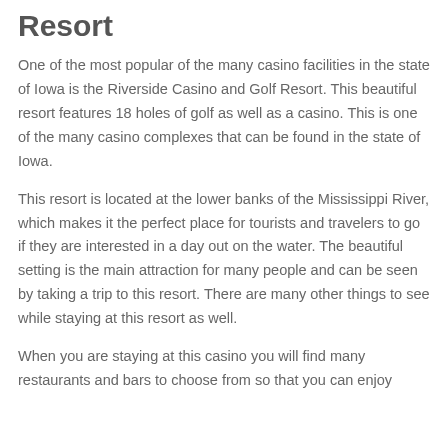Resort
One of the most popular of the many casino facilities in the state of Iowa is the Riverside Casino and Golf Resort. This beautiful resort features 18 holes of golf as well as a casino. This is one of the many casino complexes that can be found in the state of Iowa.
This resort is located at the lower banks of the Mississippi River, which makes it the perfect place for tourists and travelers to go if they are interested in a day out on the water. The beautiful setting is the main attraction for many people and can be seen by taking a trip to this resort. There are many other things to see while staying at this resort as well.
When you are staying at this casino you will find many restaurants and bars to choose from so that you can enjoy